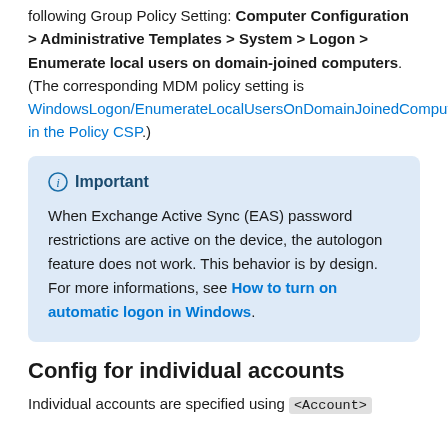following Group Policy Setting: Computer Configuration > Administrative Templates > System > Logon > Enumerate local users on domain-joined computers. (The corresponding MDM policy setting is WindowsLogon/EnumerateLocalUsersOnDomainJoinedComputers in the Policy CSP.)
Important
When Exchange Active Sync (EAS) password restrictions are active on the device, the autologon feature does not work. This behavior is by design. For more informations, see How to turn on automatic logon in Windows.
Config for individual accounts
Individual accounts are specified using <Account>